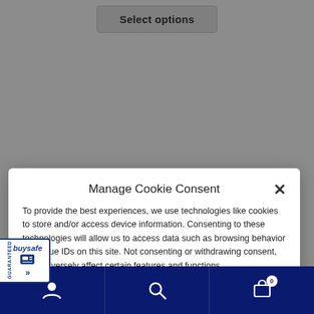[Figure (screenshot): Select options button on e-commerce page]
Manage Cookie Consent
To provide the best experiences, we use technologies like cookies to store and/or access device information. Consenting to these technologies will allow us to access data such as browsing behavior or unique IDs on this site. Not consenting or withdrawing consent, may adversely affect certain features and functions.
Accept
Opt-out preferences   Privacy Statement   Imprint
[Figure (logo): BuySafe Guaranteed badge on left side]
[Figure (photo): Product packaging strip - orange and purple pet food/treat package]
Navigation bar with user icon, search icon, and cart icon (0 items)